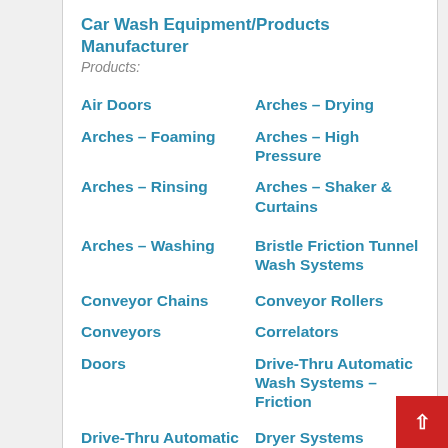Car Wash Equipment/Products Manufacturer
Products:
Air Doors
Arches – Drying
Arches – Foaming
Arches – High Pressure
Arches – Rinsing
Arches – Shaker & Curtains
Arches – Washing
Bristle Friction Tunnel Wash Systems
Conveyor Chains
Conveyor Rollers
Conveyors
Correlators
Doors
Drive-Thru Automatic Wash Systems – Friction
Drive-Thru Automatic Wash Systems – Touchless
Dryer Systems